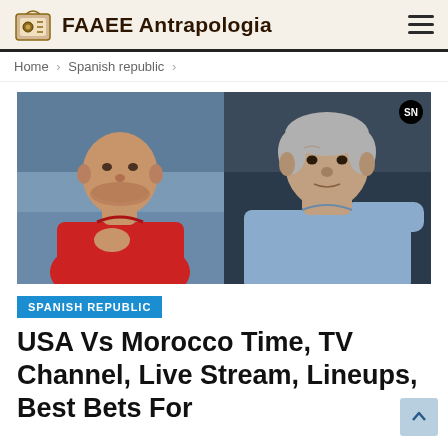FAAEE Antrapologia
Home > Spanish republic >
[Figure (photo): Split image showing two soccer coaches side by side. Left: a bald man in a red shirt with hand on chest. Right: an older man with grey hair in a light blue shirt gesturing with his arm extended. SN badge in top right corner.]
SPANISH REPUBLIC
USA Vs Morocco Time, TV Channel, Live Stream, Lineups, Best Bets For